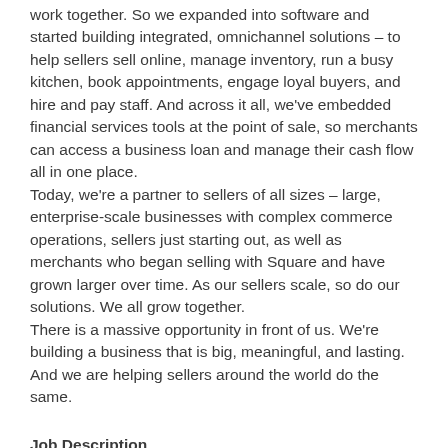work together. So we expanded into software and started building integrated, omnichannel solutions – to help sellers sell online, manage inventory, run a busy kitchen, book appointments, engage loyal buyers, and hire and pay staff. And across it all, we've embedded financial services tools at the point of sale, so merchants can access a business loan and manage their cash flow all in one place.
Today, we're a partner to sellers of all sizes – large, enterprise-scale businesses with complex commerce operations, sellers just starting out, as well as merchants who began selling with Square and have grown larger over time. As our sellers scale, so do our solutions. We all grow together.
There is a massive opportunity in front of us. We're building a business that is big, meaningful, and lasting. And we are helping sellers around the world do the same.
Job Description
Square's rapidly growing financing platform, Square Banking Credit, has revolutionized the way businesses and consumers obtain the funding needed to achieve their goals.